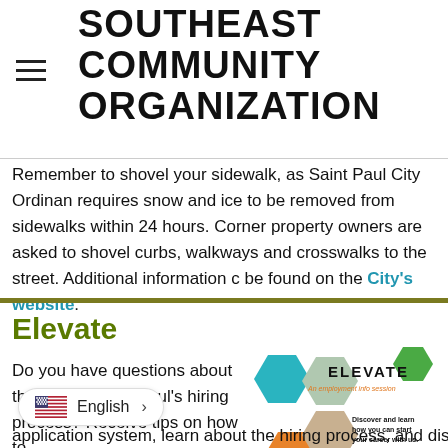SOUTHEAST COMMUNITY ORGANIZATION
Remember to shovel your sidewalk, as Saint Paul City Ordinance requires snow and ice to be removed from sidewalks within 24 hours. Corner property owners are asked to shovel curbs, walkways and crosswalks to the street. Additional information can be found on the City's website.
Elevate
Do you have questions about the City of Saint Paul's hiring process? Receive tips on how to
[Figure (illustration): ELEVATE - An employment info session promotional graphic with hexagonal photo collage and text: Discover and learn how you can start your career with us. #ElevateSTP]
application system, learn about the hiring process, and discover